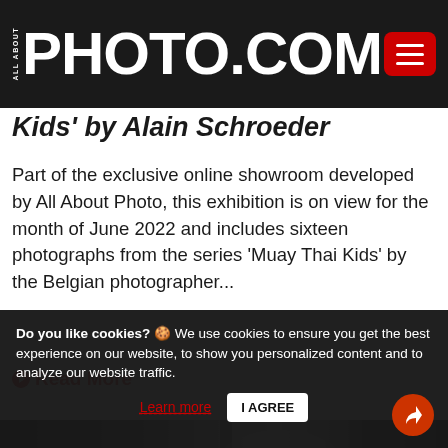ALL ABOUT PHOTO.COM
Kids' by Alain Schroeder
Part of the exclusive online showroom developed by All About Photo, this exhibition is on view for the month of June 2022 and includes sixteen photographs from the series 'Muay Thai Kids' by the Belgian photographer...
Read More
[Figure (photo): Black and white photograph showing a person's head from behind and trees in background]
Do you like cookies? 🍪 We use cookies to ensure you get the best experience on our website, to show you personalized content and to analyze our website traffic. Learn more | I AGREE